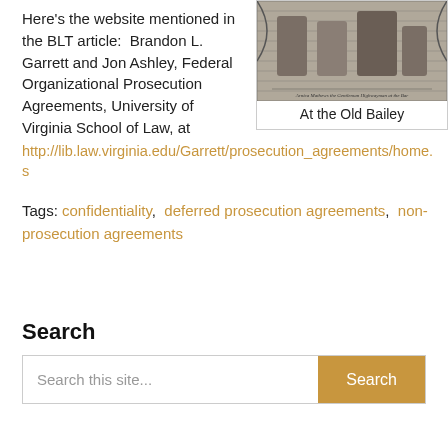Here's the website mentioned in the BLT article:  Brandon L. Garrett and Jon Ashley, Federal Organizational Prosecution Agreements, University of Virginia School of Law, at
[Figure (illustration): Historical black and white engraving image with caption 'At the Old Bailey']
At the Old Bailey
http://lib.law.virginia.edu/Garrett/prosecution_agreements/home.s
Tags: confidentiality, deferred prosecution agreements, non-prosecution agreements
Search